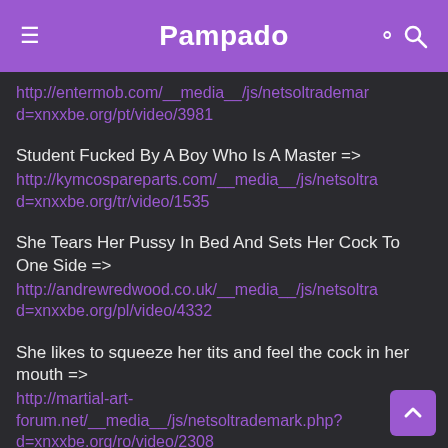Pampado
http://entermob.com/__media__/js/netsoltrademark.php?d=xnxxbe.org/pt/video/3981
Student Fucked By A Boy Who Is A Master => http://kymcospareparts.com/__media__/js/netsoltrademark.php?d=xnxxbe.org/tr/video/1535
She Tears Her Pussy In Bed And Sets Her Cock To One Side => http://andrewredwood.co.uk/__media__/js/netsoltrademark.php?d=xnxxbe.org/pl/video/4332
She likes to squeeze her tits and feel the cock in her mouth => http://martial-art-forum.net/__media__/js/netsoltrademark.php?d=xnxxbe.org/ro/video/2308
Miss Blonde Enjoys Her Afternoon Sex => http://themauka.com/__media__/js/netsoltrademark.php?d=xnxxbe.org/it/video/2754